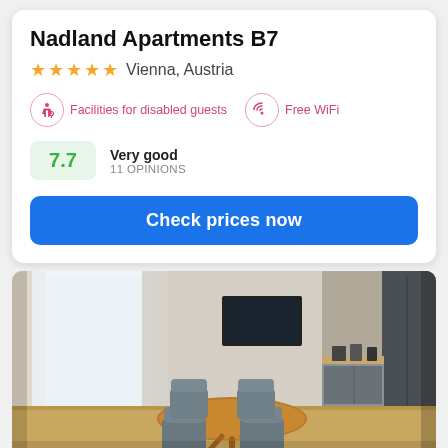Nadland Apartments B7
★★★★★ Vienna, Austria
Facilities for disabled guests
Free WiFi
7.7 Very good 11 OPINIONS
Check prices now
[Figure (photo): Interior of an apartment showing a dining area with round wooden table, grey upholstered chairs, sheer white curtains, a wall-mounted TV, and a dark grey kitchen with wooden countertop and small appliances in the background.]